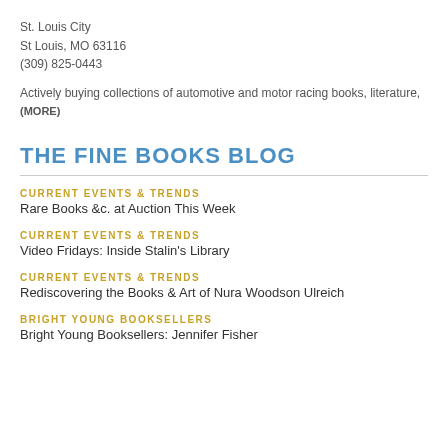St. Louis City
St Louis, MO 63116
(309) 825-0443
Actively buying collections of automotive and motor racing books, literature, (MORE)
THE FINE BOOKS BLOG
CURRENT EVENTS & TRENDS
Rare Books &c. at Auction This Week
CURRENT EVENTS & TRENDS
Video Fridays: Inside Stalin's Library
CURRENT EVENTS & TRENDS
Rediscovering the Books & Art of Nura Woodson Ulreich
BRIGHT YOUNG BOOKSELLERS
Bright Young Booksellers: Jennifer Fisher